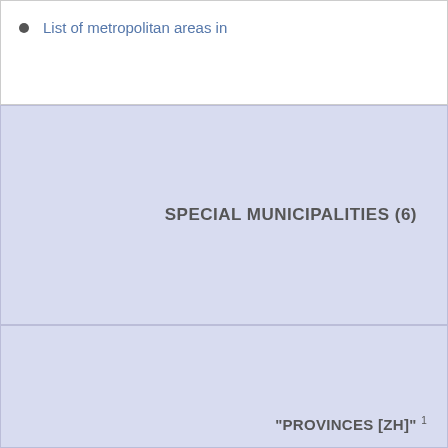List of metropolitan areas in
SPECIAL MUNICIPALITIES (6)
"PROVINCES [ZH]" 1